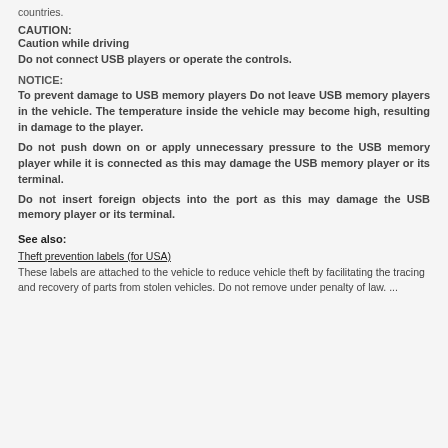countries.
CAUTION:
Caution while driving
Do not connect USB players or operate the controls.
NOTICE:
To prevent damage to USB memory players Do not leave USB memory players in the vehicle. The temperature inside the vehicle may become high, resulting in damage to the player.
Do not push down on or apply unnecessary pressure to the USB memory player while it is connected as this may damage the USB memory player or its terminal.
Do not insert foreign objects into the port as this may damage the USB memory player or its terminal.
See also:
Theft prevention labels (for USA)
These labels are attached to the vehicle to reduce vehicle theft by facilitating the tracing and recovery of parts from stolen vehicles. Do not remove under penalty of law. ...